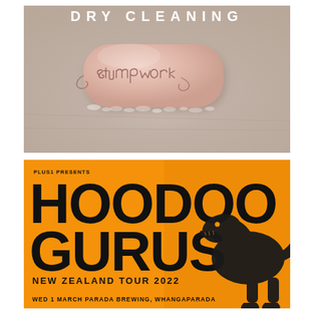[Figure (illustration): Album art for Dry Cleaning - 'Stumpwork'. Shows a bar of pink soap on a wet surface with wire spelling 'Stumpwork' on top. Text 'DRY CLEANING' in white letters at the top.]
[Figure (illustration): Concert poster for Hoodoo Gurus New Zealand Tour 2022. Orange background with large bold black text 'HOODOO GURUS'. Shows dinosaur silhouette on right side. Text reads: PLUS1 PRESENTS / HOODOO GURUS / NEW ZEALAND TOUR 2022 / WED 1 MARCH   PARADA BREWING, WHANGAPARADA]